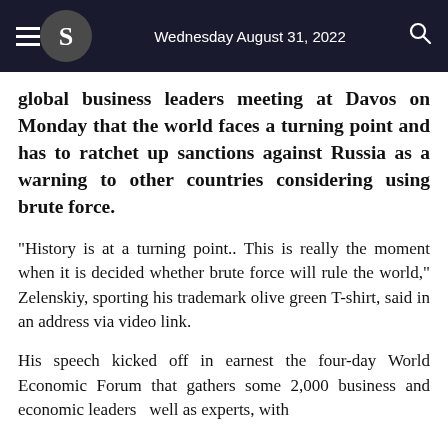Wednesday August 31, 2022
global business leaders meeting at Davos on Monday that the world faces a turning point and has to ratchet up sanctions against Russia as a warning to other countries considering using brute force.
"History is at a turning point.. This is really the moment when it is decided whether brute force will rule the world," Zelenskiy, sporting his trademark olive green T-shirt, said in an address via video link.
His speech kicked off in earnest the four-day World Economic Forum that gathers some 2,000 business and economic leaders well as experts, with